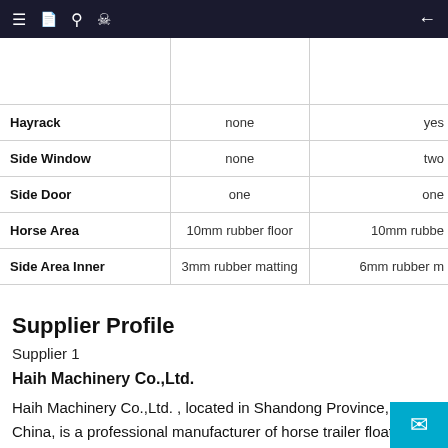Navigation bar with menu, search, profile icons and back arrow
|  |  |  |
| --- | --- | --- |
|  |  |  |
| Hayrack | none | yes |
| Side Window | none | two |
| Side Door | one | one |
| Horse Area | 10mm rubber floor | 10mm rubbe... |
| Side Area Inner | 3mm rubber matting | 6mm rubber m... |
Supplier Profile
Supplier 1
Haih Machinery Co.,Ltd.
Haih Machinery Co.,Ltd. , located in Shandong Province, China, is a professional manufacturer of horse trailer float with 5 years experience. Having their own design center, quality control center, their main products include horse...